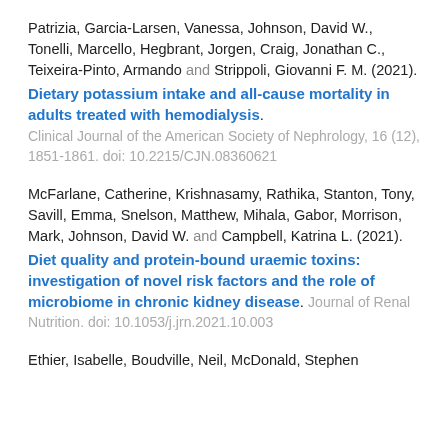Patrizia, Garcia-Larsen, Vanessa, Johnson, David W., Tonelli, Marcello, Hegbrant, Jorgen, Craig, Jonathan C., Teixeira-Pinto, Armando and Strippoli, Giovanni F. M. (2021).
Dietary potassium intake and all-cause mortality in adults treated with hemodialysis. Clinical Journal of the American Society of Nephrology, 16 (12), 1851-1861. doi: 10.2215/CJN.08360621
McFarlane, Catherine, Krishnasamy, Rathika, Stanton, Tony, Savill, Emma, Snelson, Matthew, Mihala, Gabor, Morrison, Mark, Johnson, David W. and Campbell, Katrina L. (2021).
Diet quality and protein-bound uraemic toxins: investigation of novel risk factors and the role of microbiome in chronic kidney disease. Journal of Renal Nutrition. doi: 10.1053/j.jrn.2021.10.003
Ethier, Isabelle, Boudville, Neil, McDonald, Stephen